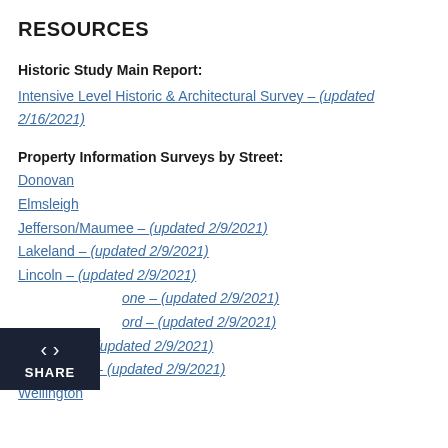RESOURCES
Historic Study Main Report:
Intensive Level Historic & Architectural Survey – (updated 2/16/2021)
Property Information Surveys by Street:
Donovan
Elmsleigh
Jefferson/Maumee – (updated 2/9/2021)
Lakeland – (updated 2/9/2021)
Lincoln – (updated 2/9/2021)
Maplestone – (updated 2/9/2021)
Pickford – (updated 2/9/2021)
University – (updated 2/9/2021)
Washington – (updated 2/9/2021)
Wellington